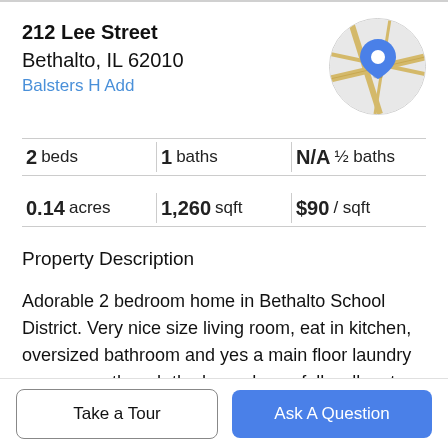212 Lee Street
Bethalto, IL 62010
Balsters H Add
[Figure (map): Circular map thumbnail with a blue location pin marker in the center, showing road intersections on a light gray and tan background.]
2 beds | 1 baths | N/A ½ baths
0.14 acres | 1,260 sqft | $90 / sqft
Property Description
Adorable 2 bedroom home in Bethalto School District. Very nice size living room, eat in kitchen, oversized bathroom and yes a main floor laundry room even though the home has a full walk out basement. You will enter the front of the home into a cute closed in front mud room, and